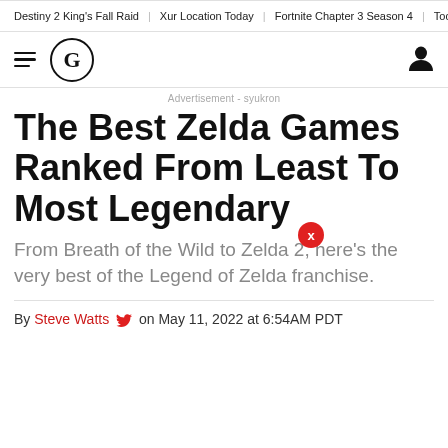Destiny 2 King's Fall Raid | Xur Location Today | Fortnite Chapter 3 Season 4 | Today's Wo
[Figure (logo): Gamespot G logo in circle, hamburger menu icon, user icon]
Advertisement - syukron
The Best Zelda Games Ranked From Least To Most Legendary
From Breath of the Wild to Zelda 2, here's the very best of the Legend of Zelda franchise.
By Steve Watts on May 11, 2022 at 6:54AM PDT